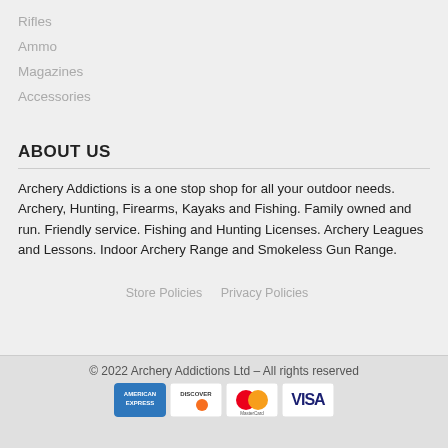Rifles
Ammo
Magazines
Accessories
ABOUT US
Archery Addictions is a one stop shop for all your outdoor needs. Archery, Hunting, Firearms, Kayaks and Fishing. Family owned and run. Friendly service. Fishing and Hunting Licenses. Archery Leagues and Lessons. Indoor Archery Range and Smokeless Gun Range.
Store Policies   Privacy Policies
© 2022 Archery Addictions Ltd – All rights reserved